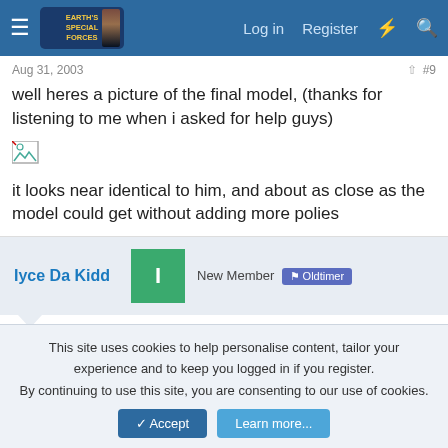Earth's Special Forces forum navigation bar with Log in, Register links
Aug 31, 2003  #9
well heres a picture of the final model, (thanks for listening to me when i asked for help guys)
[Figure (photo): Broken/missing image icon representing the final model picture]
it looks near identical to him, and about as close as the model could get without adding more polies
Iyce Da Kidd  New Member  Oldtimer
Aug 31, 2003  #10
This site uses cookies to help personalise content, tailor your experience and to keep you logged in if you register.
By continuing to use this site, you are consenting to our use of cookies.